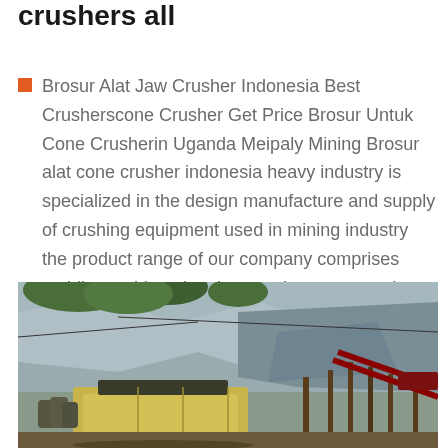crushers all
Brosur Alat Jaw Crusher Indonesia Best Crusherscone Crusher Get Price Brosur Untuk Cone Crusherin Uganda Meipaly Mining Brosur alat cone crusher indonesia heavy industry is specialized in the design manufacture and supply of crushing equipment used in mining industry the product range of our company comprises mobile crushing plant jaw crusher cone crusher impactn more details brosur
[Figure (photo): Outdoor photograph of a mining quarry site showing heavy crusher equipment (yellow/beige colored machine) in the foreground against a rocky cliff face with vegetation at the top. Wooden structures and conveyor equipment are also visible.]